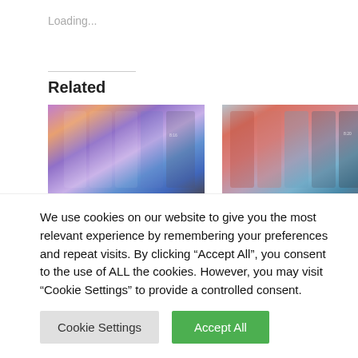Loading...
Related
[Figure (photo): Xiaomi Mi 8 Lite phones in multiple colors shown side by side]
Xiaomi Mi 8 Lite Full Review & Price
[Figure (photo): Xiaomi Redmi Note 6 Pro phones in multiple colors shown side by side]
Xiaomi Redmi Note 6 Pro Launched With Four
We use cookies on our website to give you the most relevant experience by remembering your preferences and repeat visits. By clicking “Accept All”, you consent to the use of ALL the cookies. However, you may visit "Cookie Settings" to provide a controlled consent.